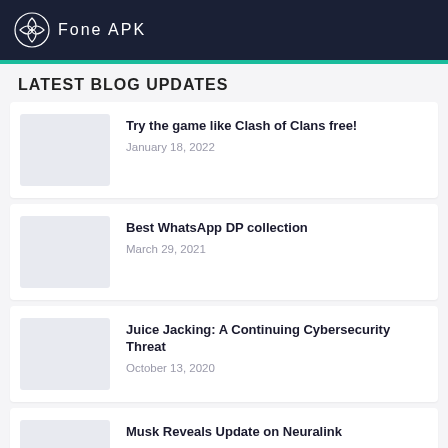Fone APK
LATEST BLOG UPDATES
Try the game like Clash of Clans free!
January 18, 2022
Best WhatsApp DP collection
March 29, 2021
Juice Jacking: A Continuing Cybersecurity Threat
October 13, 2020
Musk Reveals Update on Neuralink
October 3, 2020